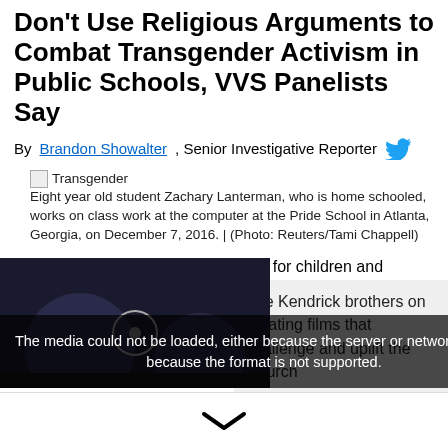Don't Use Religious Arguments to Combat Transgender Activism in Public Schools, VVS Panelists Say
By Brandon Showalter, Senior Investigative Reporter
Transgender — Eight year old student Zachary Lanterman, who is home schooled, works on class work at the computer at the Pride School in Atlanta, Georgia, on December 7, 2016. | (Photo: Reuters/Tami Chappell)
WASHINGTON — Noted advocates for children and families are unmasking how transgender activism has entered the public school system, and urging Christians to put aside differences with
The media could not be loaded, either because the server or network failed or because the format is not supported.
The Kendrick brothers on creating films that challenge and uplift the Church